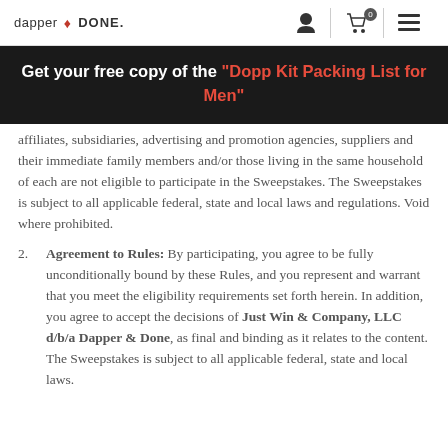dapper & DONE. [icons: user, cart (0), menu]
Get your free copy of the "Dopp Kit Packing List for Men"
affiliates, subsidiaries, advertising and promotion agencies, suppliers and their immediate family members and/or those living in the same household of each are not eligible to participate in the Sweepstakes. The Sweepstakes is subject to all applicable federal, state and local laws and regulations. Void where prohibited.
2. Agreement to Rules: By participating, you agree to be fully unconditionally bound by these Rules, and you represent and warrant that you meet the eligibility requirements set forth herein. In addition, you agree to accept the decisions of Just Win & Company, LLC d/b/a Dapper & Done, as final and binding as it relates to the content. The Sweepstakes is subject to all applicable federal, state and local laws.